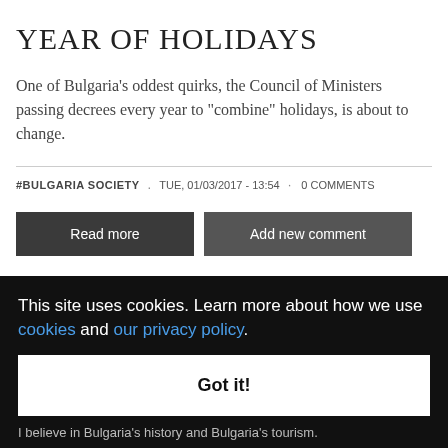YEAR OF HOLIDAYS
One of Bulgaria's oddest quirks, the Council of Ministers passing decrees every year to "combine" holidays, is about to change.
#BULGARIA SOCIETY · TUE, 01/03/2017 - 13:54 · 0 COMMENTS
Read more
Add new comment
This site uses cookies. Learn more about how we use cookies and our privacy policy.
Got it!
I believe in Bulgaria's history and Bulgaria's tourism.